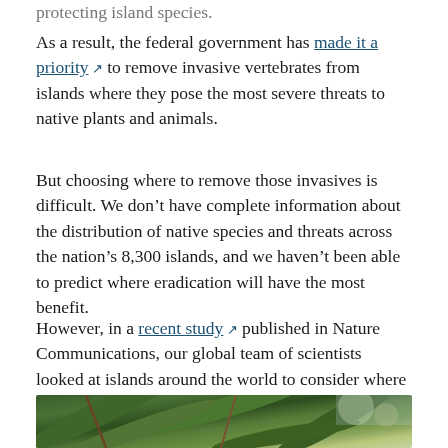protecting island species.
As a result, the federal government has made it a priority to remove invasive vertebrates from islands where they pose the most severe threats to native plants and animals.
But choosing where to remove those invasives is difficult. We don't have complete information about the distribution of native species and threats across the nation's 8,300 islands, and we haven't been able to predict where eradication will have the most benefit.
However, in a recent study published in Nature Communications, our global team of scientists looked at islands around the world to consider where we can get the biggest bang for our buck.
[Figure (photo): Close-up photograph of green plant leaves and branches, likely native Australian flora, with blurred background]